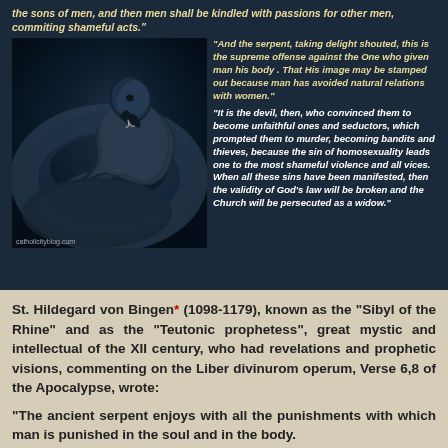the sons of men, and then men shall be kindled with passions for other men, commiting shameful acts."
[Figure (photo): Close-up photo of a dark coiled snake with its mouth open, on a dark blue background. Watermark: catholicityblog.com]
"And the serpent, taking delight shouted, this is the supreme offense against the One who given man his body . That His image may be stamped out because man has avoided natural relations with women."
"It is the devil, then, who convinced them to become unfaithful ones and seductors, which prompted them to murder, becoming bandits and thieves, because the sin of homosexuality leads one to the most shameful violence and all vices. When all these sins have been manifested, then the validity of God's law will be broken and the Church will be persecuted as a widow."
St. Hildegard von Bingen* (1098-1179), known as the "Sibyl of the Rhine" and as the "Teutonic prophetess", great mystic and intellectual of the XII century, who had revelations and prophetic visions, commenting on the Liber divinurom operum, Verse 6,8 of the Apocalypse, wrote:
"The ancient serpent enjoys with all the punishments with which man is punished in the soul and in the body.